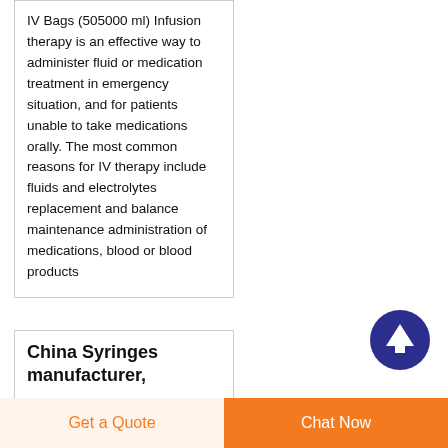IV Bags (505000 ml) Infusion therapy is an effective way to administer fluid or medication treatment in emergency situation, and for patients unable to take medications orally. The most common reasons for IV therapy include fluids and electrolytes replacement and balance maintenance administration of medications, blood or blood products
[Figure (other): Dark blue circular button with white upward arrow icon, used as a scroll-to-top button]
China Syringes manufacturer,
Get a Quote | Chat Now